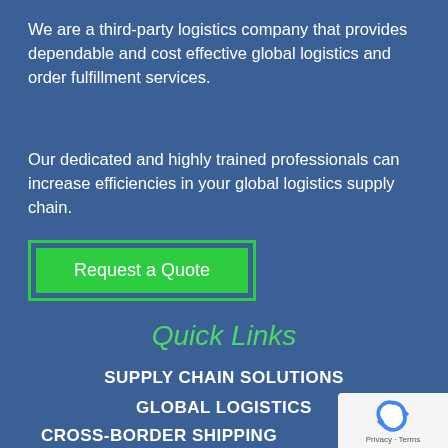We are a third-party logistics company that provides dependable and cost effective global logistics and order fulfillment services.
Our dedicated and highly trained professionals can increase efficiencies in your global logistics supply chain.
[Figure (other): Green 'Request a Quote' button with a green border outline frame]
Quick Links
SUPPLY CHAIN SOLUTIONS
GLOBAL LOGISTICS
CROSS-BORDER SHIPPING
[Figure (logo): Google reCAPTCHA badge with spinning arrows logo and Privacy - Terms text]